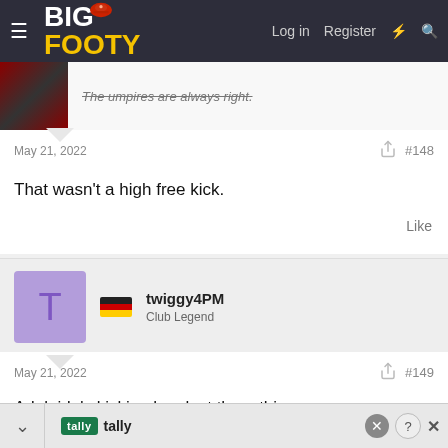BigFooty — Log in | Register
The umpires are always right.
May 21, 2022   #148
That wasn't a high free kick.
Like
twiggy4PM
Club Legend
May 21, 2022   #149
Adelaide's kicking has lost them this game.